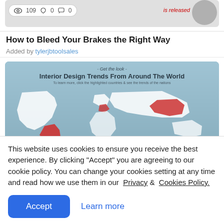[Figure (screenshot): Article card image strip with stats badge showing 109 views, 0 likes, 0 comments, a circular icon, and a red 'is released' label]
How to Bleed Your Brakes the Right Way
Added by tylerjbtoolsales
[Figure (infographic): World map infographic titled 'Interior Design Trends From Around The World' with subtitle tagline '- Get the look -', on a blue/teal background with highlighted countries in red/white]
This website uses cookies to ensure you receive the best experience. By clicking "Accept" you are agreeing to our cookie policy. You can change your cookies setting at any time and read how we use them in our Privacy & Cookies Policy.
Accept
Learn more